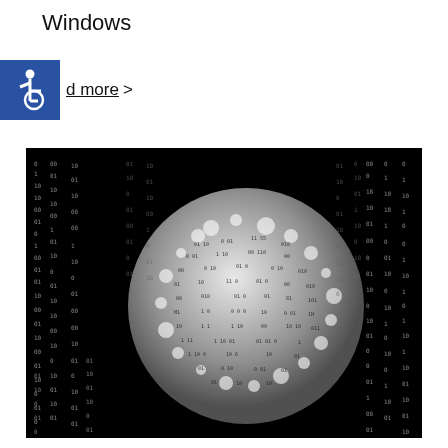Windows
d more >
[Figure (illustration): Digital binary globe — a metallic sphere covered in binary code (0s and 1s) set against a black background with falling columns of binary digits, resembling a Matrix-style digital world visualization.]